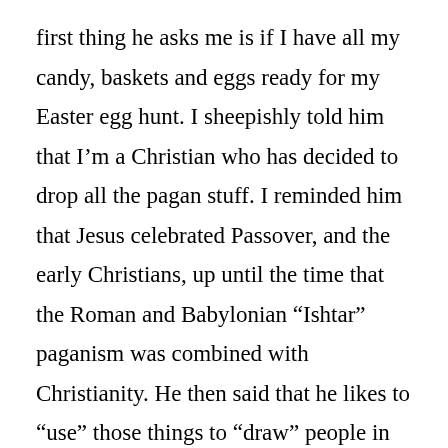first thing he asks me is if I have all my candy, baskets and eggs ready for my Easter egg hunt. I sheepishly told him that I’m a Christian who has decided to drop all the pagan stuff. I reminded him that Jesus celebrated Passover, and the early Christians, up until the time that the Roman and Babylonian “Ishtar” paganism was combined with Christianity. He then said that he likes to “use” those things to “draw” people in because they are fun and will get people interested. I told him that I believe it is better to forsake the “pragmatism” and just trust God to use the means He has established. He then said, “How then are we going to save people?” I told him